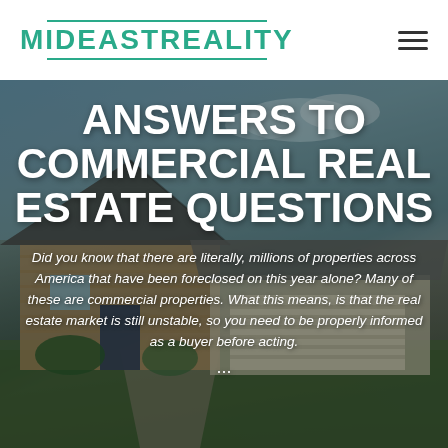MIDEASTREALITY
[Figure (photo): Background photo of a residential/commercial house with cedar shingle siding, a two-car garage, blue sky with clouds. Title and body text overlay the photo.]
ANSWERS TO COMMERCIAL REAL ESTATE QUESTIONS
Did you know that there are literally, millions of properties across America that have been foreclosed on this year alone? Many of these are commercial properties. What this means, is that the real estate market is still unstable, so you need to be properly informed as a buyer before acting.
...